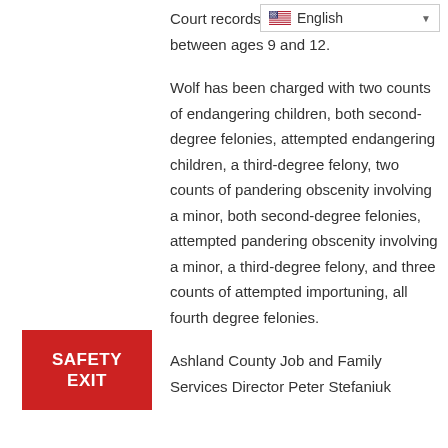[Figure (screenshot): Language selector dropdown showing English with a US flag icon and a dropdown arrow]
Court records involve boys who were between ages 9 and 12.
Wolf has been charged with two counts of endangering children, both second-degree felonies, attempted endangering children, a third-degree felony, two counts of pandering obscenity involving a minor, both second-degree felonies, attempted pandering obscenity involving a minor, a third-degree felony, and three counts of attempted importuning, all fourth degree felonies.
Ashland County Job and Family Services Director Peter Stefaniuk
[Figure (other): Red SAFETY EXIT button]